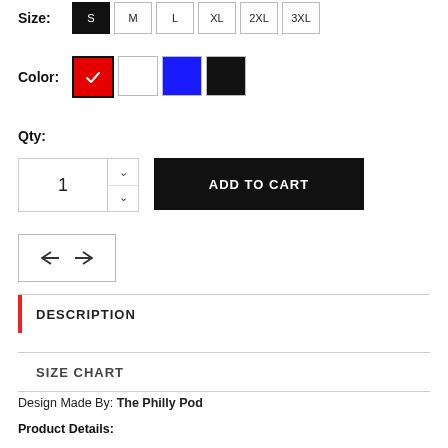Size: S M L XL 2XL 3XL
Color: (red, white, blue, black swatches)
Qty:
1
ADD TO CART
[Figure (other): Compare button with left-right arrows icon]
DESCRIPTION
SIZE CHART
Design Made By: The Philly Pod
Product Details: